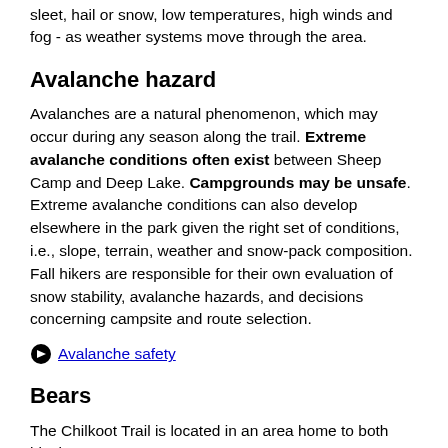sleet, hail or snow, low temperatures, high winds and fog - as weather systems move through the area.
Avalanche hazard
Avalanches are a natural phenomenon, which may occur during any season along the trail. Extreme avalanche conditions often exist between Sheep Camp and Deep Lake. Campgrounds may be unsafe. Extreme avalanche conditions can also develop elsewhere in the park given the right set of conditions, i.e., slope, terrain, weather and snow-pack composition. Fall hikers are responsible for their own evaluation of snow stability, avalanche hazards, and decisions concerning campsite and route selection.
Avalanche safety
Bears
The Chilkoot Trail is located in an area home to both black